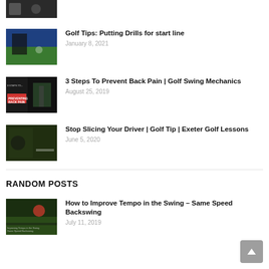[Figure (photo): Partial thumbnail of a golf video at top of page (cropped)]
Golf Tips: Putting Drills for start line
January 8, 2021
3 Steps To Prevent Back Pain | Golf Swing Mechanics
August 25, 2019
Stop Slicing Your Driver | Golf Tip | Exeter Golf Lessons
June 5, 2020
RANDOM POSTS
How to Improve Tempo in the Swing – Same Speed Backswing
July 11, 2019